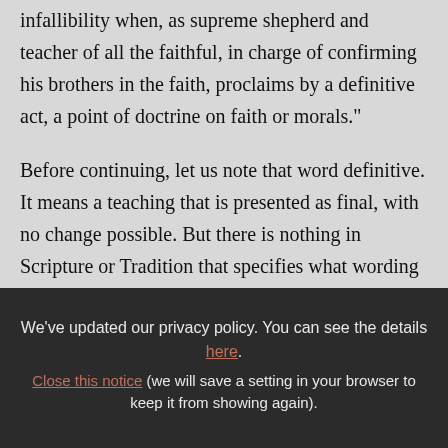infallibility when, as supreme shepherd and teacher of all the faithful, in charge of confirming his brothers in the faith, proclaims by a definitive act, a point of doctrine on faith or morals."
Before continuing, let us note that word definitive. It means a teaching that is presented as final, with no change possible. But there is nothing in Scripture or Tradition that specifies what wording the Pope must use
We've updated our privacy policy. You can see the details here. Close this notice (we will save a setting in your browser to keep it from showing again).